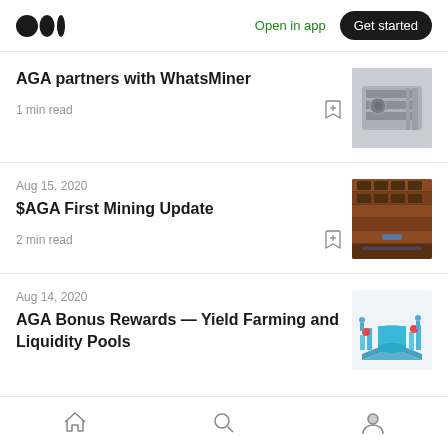Medium — Open in app | Get started
AGA partners with WhatsMiner
1 min read
Aug 15, 2020
$AGA First Mining Update
2 min read
Aug 14, 2020
AGA Bonus Rewards — Yield Farming and Liquidity Pools
Home | Search | Profile